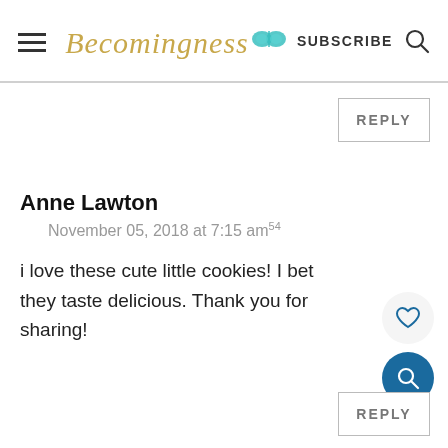Becomingness SUBSCRIBE
REPLY
Anne Lawton
November 05, 2018 at 7:15 am54
i love these cute little cookies! I bet they taste delicious. Thank you for sharing!
REPLY